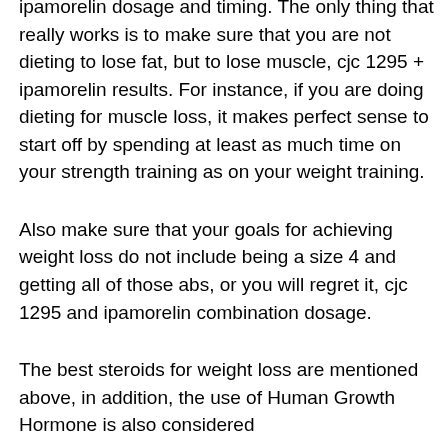only the best intentions - you will find that you are not making it easy for yourself to lose weight, ipamorelin dosage and timing. The only thing that really works is to make sure that you are not dieting to lose fat, but to lose muscle, cjc 1295 + ipamorelin results. For instance, if you are doing dieting for muscle loss, it makes perfect sense to start off by spending at least as much time on your strength training as on your weight training.
Also make sure that your goals for achieving weight loss do not include being a size 4 and getting all of those abs, or you will regret it, cjc 1295 and ipamorelin combination dosage.
The best steroids for weight loss are mentioned above, in addition, the use of Human Growth Hormone is also considered